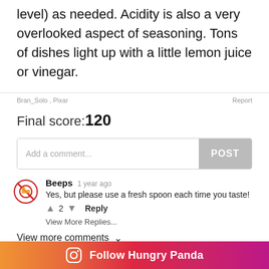level) as needed. Acidity is also a very overlooked aspect of seasoning. Tons of dishes light up with a little lemon juice or vinegar.
Bran_Solo , Pixar   Report
Final score: 120
Add a comment...   POST
Beeps  1 year ago
Yes, but please use a fresh spoon each time you taste!
↑ 2 ↓  Reply
View More Replies...
View more comments ∨
Some people who are new to cooking might not realize that
Follow Hungry Panda